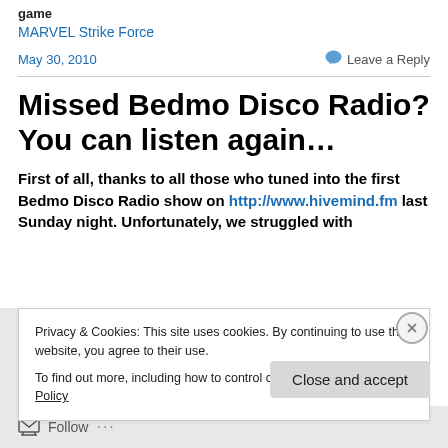game
MARVEL Strike Force
May 30, 2010
Leave a Reply
Missed Bedmo Disco Radio? You can listen again…
First of all, thanks to all those who tuned into the first Bedmo Disco Radio show on http://www.hivemind.fm last Sunday night. Unfortunately, we struggled with
Privacy & Cookies: This site uses cookies. By continuing to use this website, you agree to their use.
To find out more, including how to control cookies, see here: Cookie Policy
Close and accept
Follow